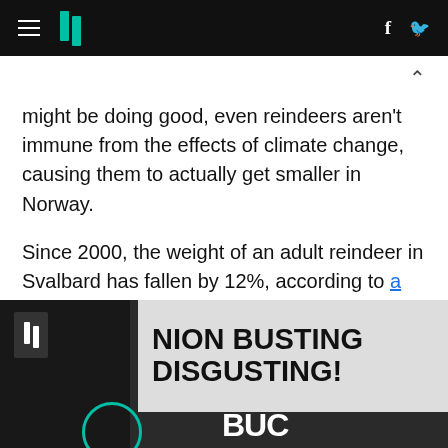HuffPost navigation header with hamburger menu, logo, Facebook and Twitter icons
might be doing good, even reindeers aren't immune from the effects of climate change, causing them to actually get smaller in Norway.
Since 2000, the weight of an adult reindeer in Svalbard has fallen by 12%, according to a study presented at the British Ecological Society (BES).
[Figure (photo): Photo showing a protest sign reading 'UNION BUSTING DISGUSTING!' with a HuffPost logo overlay and teal circle element in the lower portion of the page]